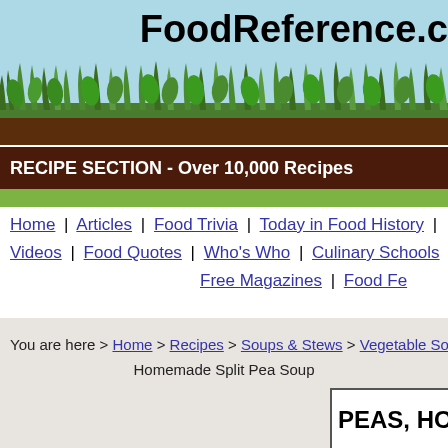FoodReference.c
[Figure (illustration): Green grass and soil illustration banner across the top of the page]
RECIPE SECTION - Over 10,000 Recipes
Home | Articles | Food Trivia | Today in Food History |
Videos | Food Quotes | Who's Who | Culinary Schools
Free Magazines | Food Fe
You are here > Home > Recipes > Soups & Stews > Vegetable Sou
Homemade Split Pea Soup
PEAS, HOM